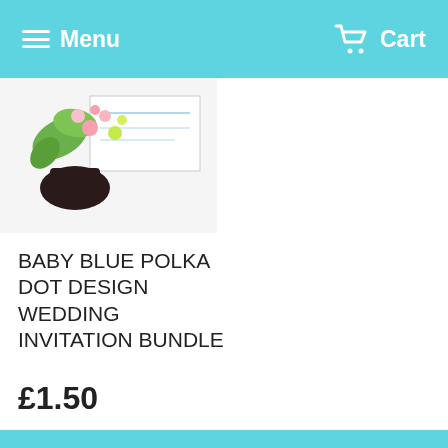Menu  Cart
[Figure (photo): Product photo showing a baby blue polka dot wedding invitation with floral decoration]
BABY BLUE POLKA DOT DESIGN WEDDING INVITATION BUNDLE
£1.50